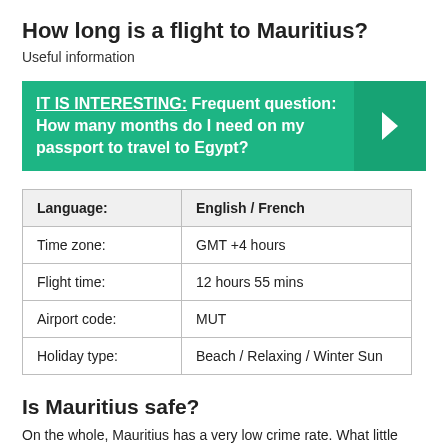How long is a flight to Mauritius?
Useful information
[Figure (infographic): Green banner with bold white text: 'IT IS INTERESTING: Frequent question: How many months do I need on my passport to travel to Egypt?' with a right-arrow chevron on the right side.]
| Language: | English / French |
| --- | --- |
| Time zone: | GMT +4 hours |
| Flight time: | 12 hours 55 mins |
| Airport code: | MUT |
| Holiday type: | Beach / Relaxing / Winter Sun |
Is Mauritius safe?
On the whole, Mauritius has a very low crime rate. What little